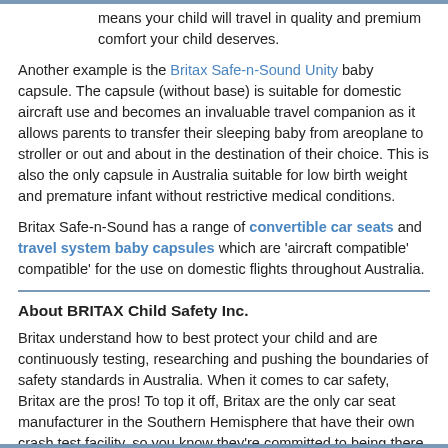means your child will travel in quality and premium comfort your child deserves.
Another example is the Britax Safe-n-Sound Unity baby capsule. The capsule (without base) is suitable for domestic aircraft use and becomes an invaluable travel companion as it allows parents to transfer their sleeping baby from areoplane to stroller or out and about in the destination of their choice. This is also the only capsule in Australia suitable for low birth weight and premature infant without restrictive medical conditions.
Britax Safe-n-Sound has a range of convertible car seats and travel system baby capsules which are 'aircraft compatible' compatible' for the use on domestic flights throughout Australia.
About BRITAX Child Safety Inc.
Britax understand how to best protect your child and are continuously testing, researching and pushing the boundaries of safety standards in Australia. When it comes to car safety, Britax are the pros! To top it off, Britax are the only car seat manufacturer in the Southern Hemisphere that have their own crash test facility, so you know they're committed to being there for your family from the very first car ride home.